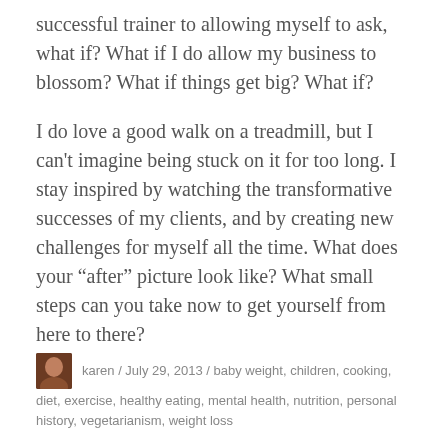successful trainer to allowing myself to ask, what if? What if I do allow my business to blossom? What if things get big? What if?
I do love a good walk on a treadmill, but I can't imagine being stuck on it for too long. I stay inspired by watching the transformative successes of my clients, and by creating new challenges for myself all the time. What does your “after” picture look like? What small steps can you take now to get yourself from here to there?
karen / July 29, 2013 / baby weight, children, cooking, diet, exercise, healthy eating, mental health, nutrition, personal history, vegetarianism, weight loss